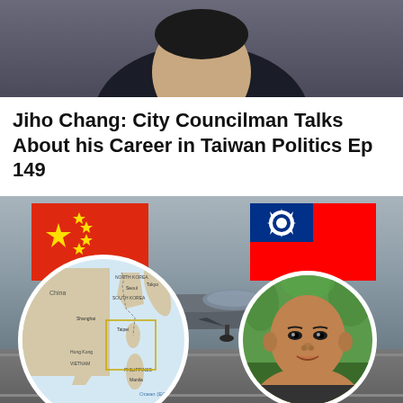[Figure (photo): Top portion of a person in a dark suit with white shirt, cropped at shoulder/chest level, gray background]
Jiho Chang: City Councilman Talks About his Career in Taiwan Politics Ep 149
[Figure (infographic): Composite image featuring Chinese and Taiwan flags at top, military fighter jet in background, circular map inset of East Asia showing Taiwan Strait region, and circular portrait photo of a bald Asian man]